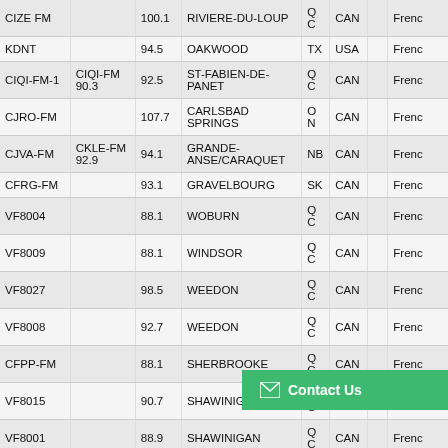| Call Sign | Alt Call Sign | Freq | City | State | Country |  | Lang |
| --- | --- | --- | --- | --- | --- | --- | --- |
| CIZE FM |  | 100.1 | RIVIERE-DU-LOUP | QC | CAN |  | Frenc |
| KDNT |  | 94.5 | OAKWOOD | TX | USA |  | Frenc |
| CIQI-FM-1 | CIQI-FM 90.3 | 92.5 | ST-FABIEN-DE-PANET | QC | CAN |  | Frenc |
| CJRO-FM |  | 107.7 | CARLSBAD SPRINGS | ON | CAN |  | Frenc |
| CJVA-FM | CKLE-FM 92.9 | 94.1 | GRANDE-ANSE/CARAQUET | NB | CAN |  | Frenc |
| CFRG-FM |  | 93.1 | GRAVELBOURG | SK | CAN |  | Frenc |
| VF8004 |  | 88.1 | WOBURN | QC | CAN |  | Frenc |
| VF8009 |  | 88.1 | WINDSOR | QC | CAN |  | Frenc |
| VF8027 |  | 98.5 | WEEDON | QC | CAN |  | Frenc |
| VF8008 |  | 92.7 | WEEDON | QC | CAN |  | Frenc |
| CFPP-FM |  | 88.1 | SHERBROOKE | QC | CAN |  | Frenc |
| VF8015 |  | 90.7 | SHAWINIGAN-SUD | QC | CAN |  | Frenc |
| VF8001 |  | 88.9 | SHAWINIGAN | QC | CAN |  | Frenc |
| CIAU-FM |  | 103.1 | RADISSON | QC | CAN |  | Frenc |